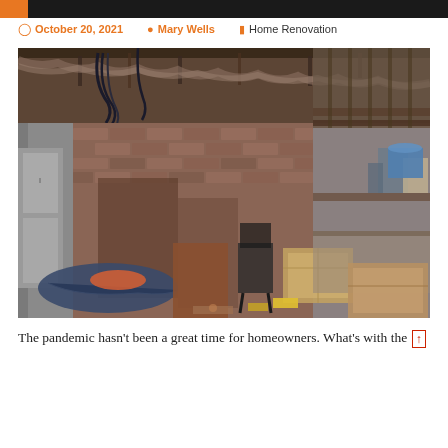October 20, 2021   Mary Wells   Home Renovation
[Figure (photo): Interior of a building under renovation showing exposed brick walls, damaged ceiling with hanging insulation and wiring, and various construction materials and furniture scattered on the floor.]
The pandemic hasn't been a great time for homeowners. What's with the